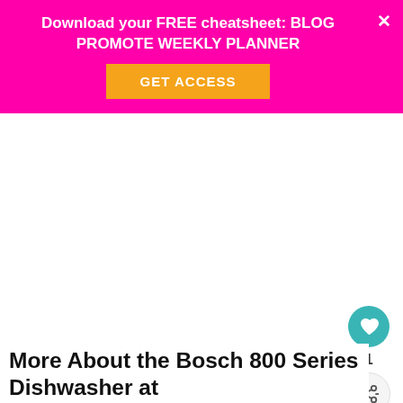Download your FREE cheatsheet: BLOG PROMOTE WEEKLY PLANNER
GET ACCESS
[Figure (other): White blank area representing a content image placeholder]
[Figure (other): Teal heart icon button with count 1 and a share icon below]
More About the Bosch 800 Series Dishwasher at